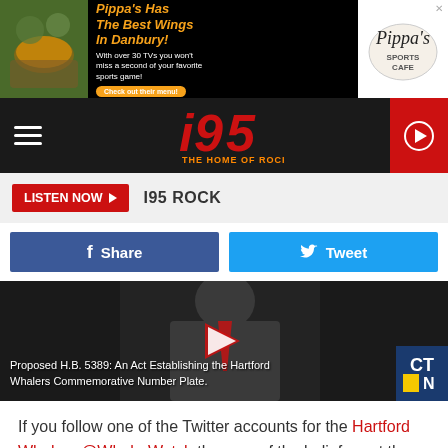[Figure (screenshot): Advertisement banner for Pippa's Sports Cafe: 'Pippa's Has The Best Wings In Danbury!' with food image and logo]
[Figure (screenshot): i95 Rock radio station navigation bar with hamburger menu, i95 logo, and play button]
LISTEN NOW ▶  I95 ROCK
[Figure (screenshot): Facebook Share button and Twitter Tweet button]
[Figure (screenshot): Video thumbnail showing a man in a suit with overlay text: Proposed H.B. 5389: An Act Establishing the Hartford Whalers Commemorative Number Plate. CTN logo visible.]
If you follow one of the Twitter accounts for the Hartford Whalers @WhalerWatch they are of the belief, or at the very